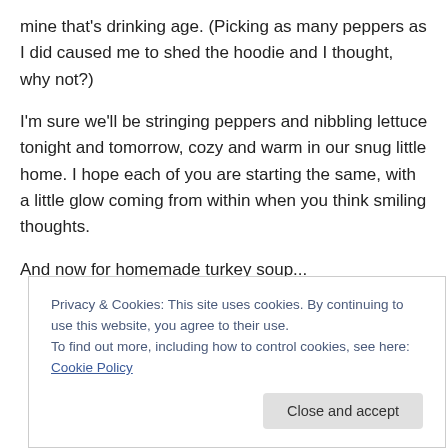mine that's drinking age. (Picking as many peppers as I did caused me to shed the hoodie and I thought, why not?)
I'm sure we'll be stringing peppers and nibbling lettuce tonight and tomorrow, cozy and warm in our snug little home. I hope each of you are starting the same, with a little glow coming from within when you think smiling thoughts.
And now for homemade turkey soup...
Privacy & Cookies: This site uses cookies. By continuing to use this website, you agree to their use.
To find out more, including how to control cookies, see here: Cookie Policy